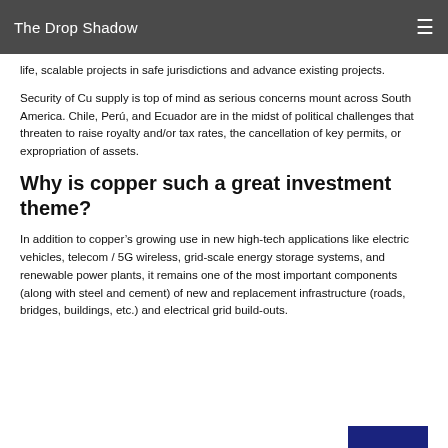The Drop Shadow
life, scalable projects in safe jurisdictions and advance existing projects.
Security of Cu supply is top of mind as serious concerns mount across South America. Chile, Perú, and Ecuador are in the midst of political challenges that threaten to raise royalty and/or tax rates, the cancellation of key permits, or expropriation of assets.
Why is copper such a great investment theme?
In addition to copper's growing use in new high-tech applications like electric vehicles, telecom / 5G wireless, grid-scale energy storage systems, and renewable power plants, it remains one of the most important components (along with steel and cement) of new and replacement infrastructure (roads, bridges, buildings, etc.) and electrical grid build-outs.